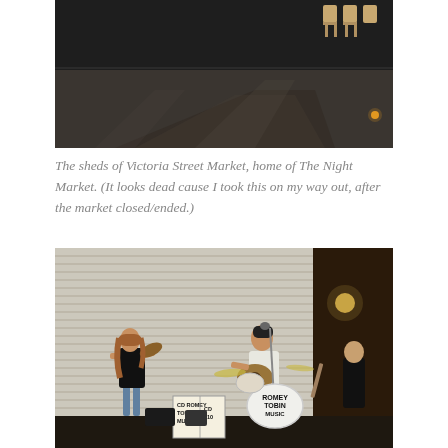[Figure (photo): Night-time photo of the sheds of Victoria Street Market, showing the empty market area with dark floors and chairs visible, taken after the market closed.]
The sheds of Victoria Street Market, home of The Night Market. (It looks dead cause I took this on my way out, after the market closed/ended.)
[Figure (photo): Photo of street musicians performing outside a shuttered roller door. A violinist in a black t-shirt plays on the left, a guitarist in a white t-shirt sings at a microphone in the centre, and another musician is visible on the right. A drum kit with 'ROMEY TOBIN MUSIC' on the bass drum is visible, along with a sign reading 'CD ROMEY TOBIN MUSIC CD $10'.]